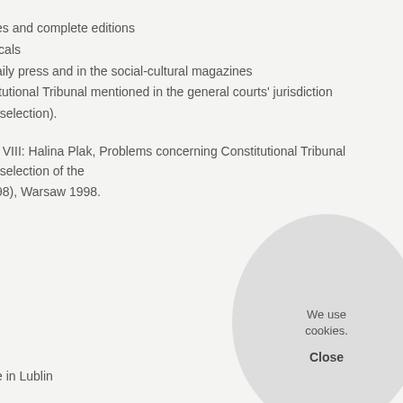es and complete editions
icals
aily press and in the social-cultural magazines
itutional Tribunal mentioned in the general courts' jurisdiction (selection).
. VIII: Halina Plak, Problems concerning Constitutional Tribunal (selection of the 98), Warsaw 1998.
e in Lublin
We use cookies.
Close